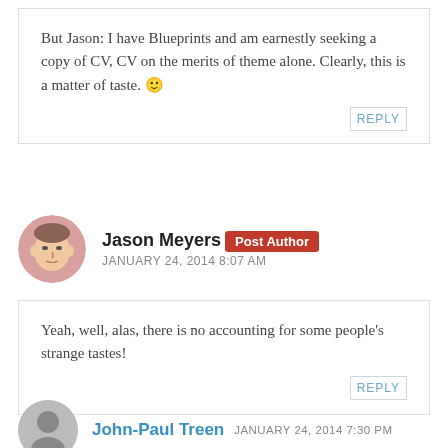But Jason: I have Blueprints and am earnestly seeking a copy of CV, CV on the merits of theme alone. Clearly, this is a matter of taste. 🙂
REPLY
Jason Meyers  Post Author  JANUARY 24, 2014 8:07 AM
Yeah, well, alas, there is no accounting for some people's strange tastes!
REPLY
John-Paul Treen  JANUARY 24, 2014 7:30 PM